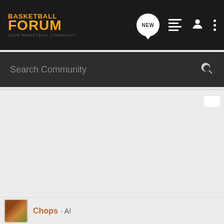BASKETBALL FORUM
Search Community
Chops · AI